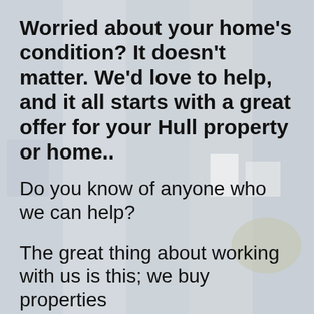[Figure (photo): Background image of residential properties/houses with a light gray-blue toned overlay, showing building facades, a car, and foliage.]
Worried about your home's condition? It doesn't matter. We'd love to help, and it all starts with a great offer for your Hull property or home..
Do you know of anyone who we can help?
The great thing about working with us is this; we buy properties